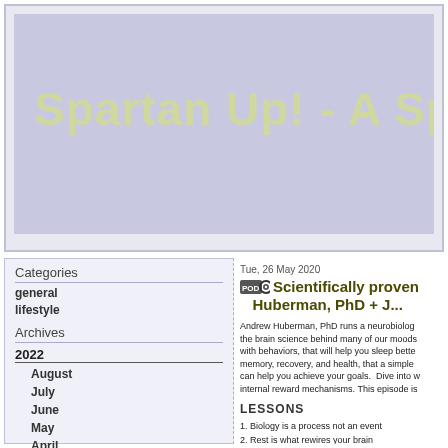Spartan Up! - A Spartan Ra
Categories
general
lifestyle
Archives
2022
August
July
June
May
April
March
February
January
2021
December
November
October
September
Tue, 26 May 2020
Scientifically proven... Huberman, PhD + J...
Andrew Huberman, PhD runs a neurobiology lab. He discusses the brain science behind many of our moods, and simple things, with behaviors, that will help you sleep better, improve memory, recovery, and health, that a simple view of the sun can help you achieve your goals. Dive into what drives internal reward mechanisms. This episode is...
LESSONS
1. Biology is a process not an event
2. Rest is what rewires your brain
3. Napping makes you better
4. Slow wave sleep = deep recovery
5. Nervous system instructs the immu...
6. Behavior, diet + supplementation ar...
7. Get sun in your eyes in the morning...
8. Avoid bright lights at night
9. Exercise early in the day
10. Learn what works best for you
11. understand internal reward mecha...